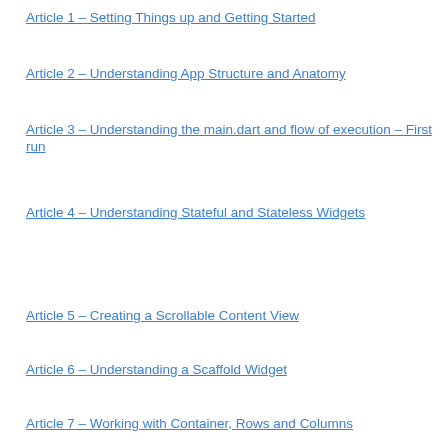Article 1 – Setting Things up and Getting Started
Article 2 – Understanding App Structure and Anatomy
Article 3 – Understanding the main.dart and flow of execution – First run
Article 4 – Understanding Stateful and Stateless Widgets
Article 5 – Creating a Scrollable Content View
Article 6 – Understanding a Scaffold Widget
Article 7 – Working with Container, Rows and Columns